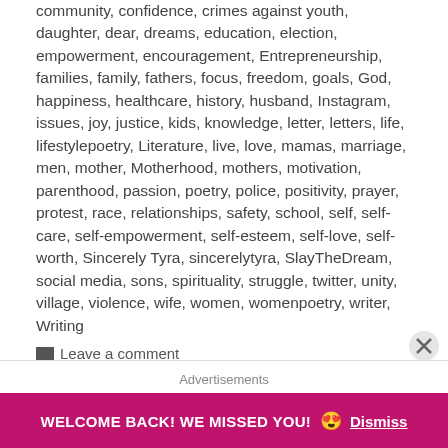community, confidence, crimes against youth, daughter, dear, dreams, education, election, empowerment, encouragement, Entrepreneurship, families, family, fathers, focus, freedom, goals, God, happiness, healthcare, history, husband, Instagram, issues, joy, justice, kids, knowledge, letter, letters, life, lifestylepoetry, Literature, live, love, mamas, marriage, men, mother, Motherhood, mothers, motivation, parenthood, passion, poetry, police, positivity, prayer, protest, race, relationships, safety, school, self, self-care, self-empowerment, self-esteem, self-love, self-worth, Sincerely Tyra, sincerelytyra, SlayTheDream, social media, sons, spirituality, struggle, twitter, unity, village, violence, wife, women, womenpoetry, writer, Writing
Leave a comment
Advertisements
WELCOME BACK! WE MISSED YOU! 😍 Dismiss